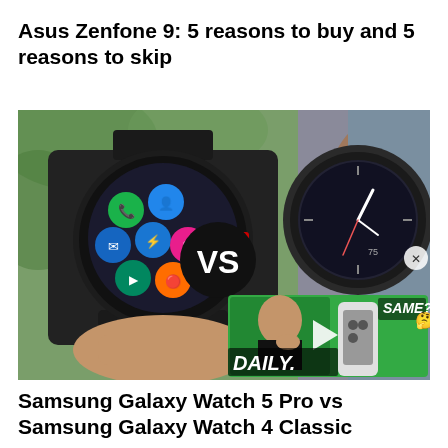Asus Zenfone 9: 5 reasons to buy and 5 reasons to skip
[Figure (photo): Two Samsung Galaxy smartwatches side by side with 'VS' text in the center. Left watch shows app icons on screen, right watch shows a clock face. An inset video thumbnail in the lower right shows a man with a phone and text reading 'DAILY.' and 'SAME?' with a thinking emoji.]
Samsung Galaxy Watch 5 Pro vs Samsung Galaxy Watch 4 Classic